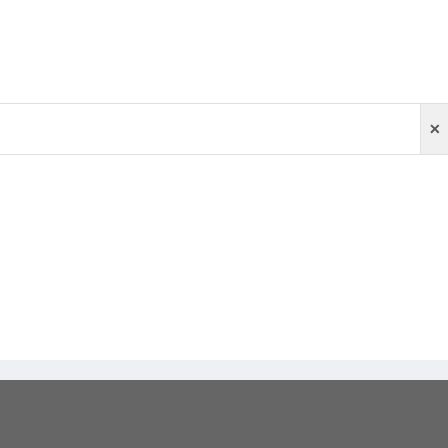[Figure (screenshot): White main content area with a horizontal modal/dialog bar near the top containing a close (X) button on the right side]
1001 Crash Copyright © | 2005-2022 | www.1001crash.com   Go to top   Disclaimer | Contact us | Site map